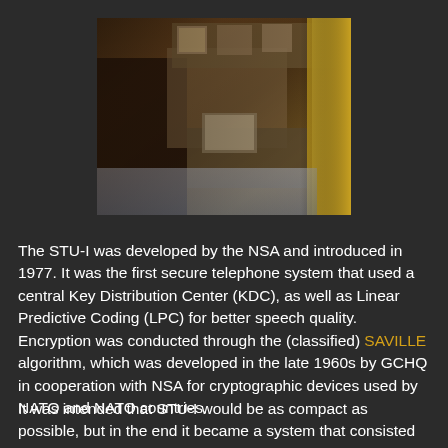[Figure (photo): Interior photograph showing what appears to be an office or room setting with dark wooden furniture, a telephone or communication device on a desk, framed photos on the wall or shelf, and a yellow/gold flag or fabric visible on the right side.]
The STU-I was developed by the NSA and introduced in 1977. It was the first secure telephone system that used a central Key Distribution Center (KDC), as well as Linear Predictive Coding (LPC) for better speech quality. Encryption was conducted through the (classified) SAVILLE algorithm, which was developed in the late 1960s by GCHQ in cooperation with NSA for cryptographic devices used by NATO and NATO countries.
It was intended that STU-I would be as compact as possible, but in the end it became a system that consisted of two